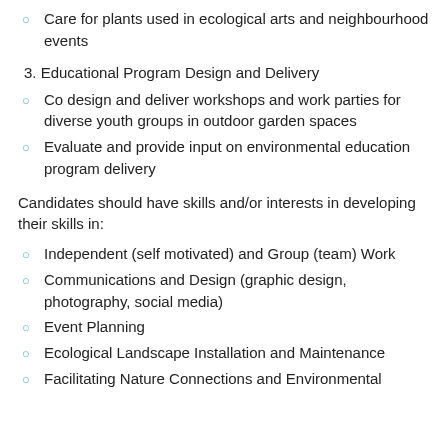Care for plants used in ecological arts and neighbourhood events
3. Educational Program Design and Delivery
Co design and deliver workshops and work parties for diverse youth groups in outdoor garden spaces
Evaluate and provide input on environmental education program delivery
Candidates should have skills and/or interests in developing their skills in:
Independent (self motivated) and Group (team) Work
Communications and Design (graphic design, photography, social media)
Event Planning
Ecological Landscape Installation and Maintenance
Facilitating Nature Connections and Environmental